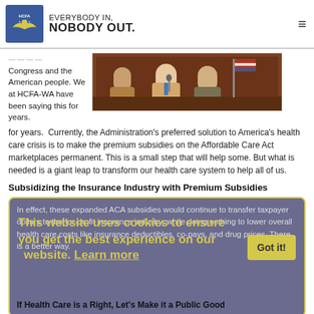HCFA-WA | EVERYBODY IN, NOBODY OUT.
Congress and the American people. We at HCFA-WA have been saying this for years.  Currently, the Administration's preferred solution to America's health care crisis is to make the premium subsidies on the Affordable Care Act marketplaces permanent. This is a small step that will help some. But what is needed is a giant leap to transform our health care system to help all of us.
[Figure (photo): Photo of people at a congressional podium/hearing, figures visible at lectern with American flag background]
Subsidizing the Insurance Industry with Premium Subsidies
In effect, these expanded ACA subsidies would continue to transfer taxpayer dollars to the for-profit insurance industry, while doing nothing to lower overall health care costs like insurance deductibles, co-pays, and drug prices. There is a better way.
This website uses cookies to ensure you get the best experience on our website. Learn more
If Health Care is a Right, Let's Make it a Public Good